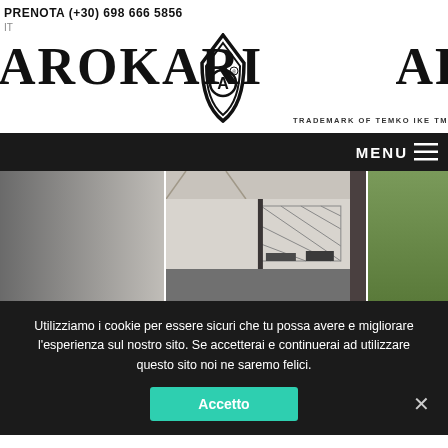PRENOTA (+30) 698 666 5856
IT
[Figure (logo): Karokari Apartments logo with stylized drop/house icon in the center of the text, and 'TRADEMARK OF TEMKO IKE TM' below right]
MENU ≡
[Figure (photo): Interior/exterior apartment photo showing sliding glass doors, a white wall, a metal lattice fence or gate, and green trees in the background, with dark door frames on the sides.]
Utilizziamo i cookie per essere sicuri che tu possa avere e migliorare l'esperienza sul nostro sito. Se accetterai e continuerai ad utilizzare questo sito noi ne saremo felici.
Accetto